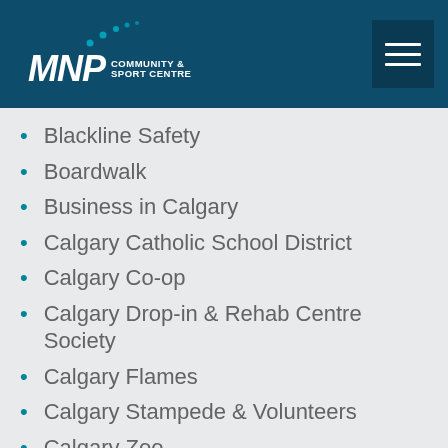[Figure (logo): MNP Community & Sport Centre logo with teal dots arc on dark teal header background]
Blackline Safety
Boardwalk
Business in Calgary
Calgary Catholic School District
Calgary Co-op
Calgary Drop-in & Rehab Centre Society
Calgary Flames
Calgary Stampede & Volunteers
Calgary Zoo